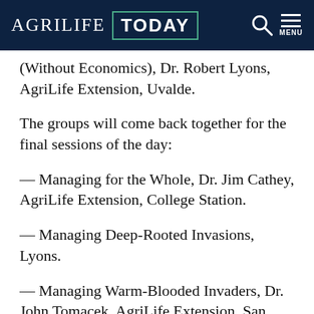AgriLife TODAY
(Without Economics), Dr. Robert Lyons, AgriLife Extension, Uvalde.
The groups will come back together for the final sessions of the day:
— Managing for the Whole, Dr. Jim Cathey, AgriLife Extension, College Station.
— Managing Deep-Rooted Invasions, Lyons.
— Managing Warm-Blooded Invaders, Dr. John Tomacek, AgriLife Extension, San Angelo.
— Perspective on the Day, Dr. Rick Machen